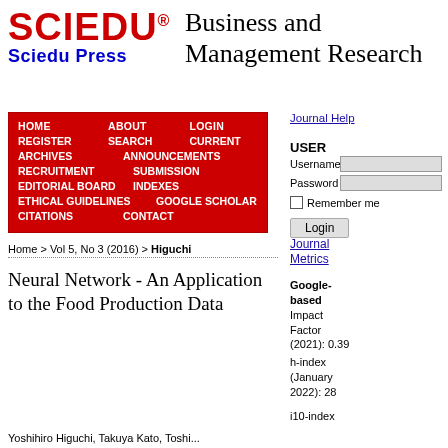[Figure (logo): SCIEDU / Sciedu Press logo in red and blue]
Business and Management Research
[Figure (other): Red navigation menu box with items: HOME, ABOUT, LOGIN, REGISTER, SEARCH, CURRENT, ARCHIVES, ANNOUNCEMENTS, RECRUITMENT, SUBMISSION, EDITORIAL BOARD, INDEXES, ETHICAL GUIDELINES, GOOGLE SCHOLAR, CITATIONS, CONTACT]
Journal Help
USER
Username
Password
Remember me
Login
Home > Vol 5, No 3 (2016) > Higuchi
Journal Metrics
Google-based Impact Factor (2021): 0.39
h-index (January 2022): 28
i10-index
Neural Network - An Application to the Food Production Data
Yoshihiro Higuchi, Takuya Kato, Toshi...